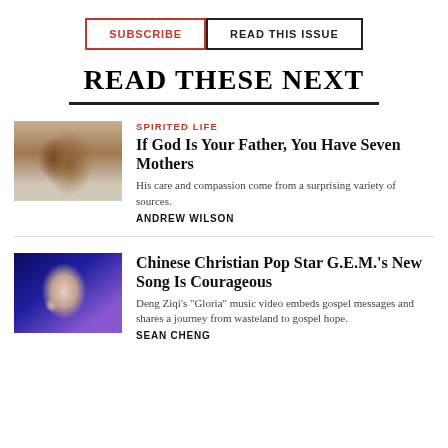SUBSCRIBE
READ THIS ISSUE
READ THESE NEXT
[Figure (photo): Photo of two figures, one wearing white, artistic/spiritual context]
SPIRITED LIFE
If God Is Your Father, You Have Seven Mothers
His care and compassion come from a surprising variety of sources.
ANDREW WILSON
[Figure (photo): Photo of Chinese pop star G.E.M. performing on stage with microphone, wearing white jacket, purple stage lighting]
Chinese Christian Pop Star G.E.M.'s New Song Is Courageous
Deng Ziqi's "Gloria" music video embeds gospel messages and shares a journey from wasteland to gospel hope.
SEAN CHENG